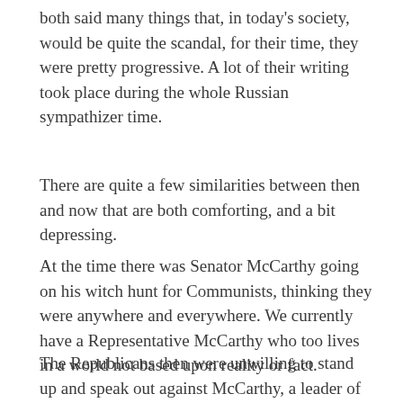both said many things that, in today's society, would be quite the scandal, for their time, they were pretty progressive. A lot of their writing took place during the whole Russian sympathizer time.
There are quite a few similarities between then and now that are both comforting, and a bit depressing.
At the time there was Senator McCarthy going on his witch hunt for Communists, thinking they were anywhere and everywhere. We currently have a Representative McCarthy who too lives in a world not based upon reality or fact.
The Republicans then were unwilling to stand up and speak out against McCarthy, a leader of their party. We now have